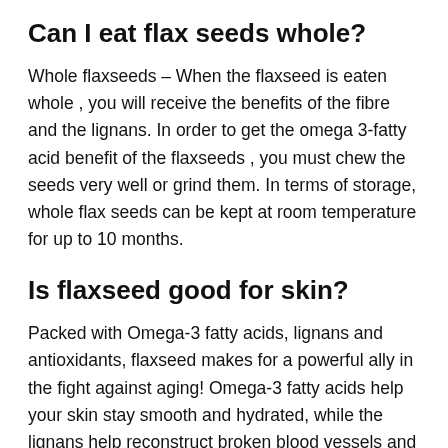Can I eat flax seeds whole?
Whole flaxseeds – When the flaxseed is eaten whole , you will receive the benefits of the fibre and the lignans. In order to get the omega 3-fatty acid benefit of the flaxseeds , you must chew the seeds very well or grind them. In terms of storage, whole flax seeds can be kept at room temperature for up to 10 months.
Is flaxseed good for skin?
Packed with Omega-3 fatty acids, lignans and antioxidants, flaxseed makes for a powerful ally in the fight against aging! Omega-3 fatty acids help your skin stay smooth and hydrated, while the lignans help reconstruct broken blood vessels and skin cells, and antioxidants protect the skin